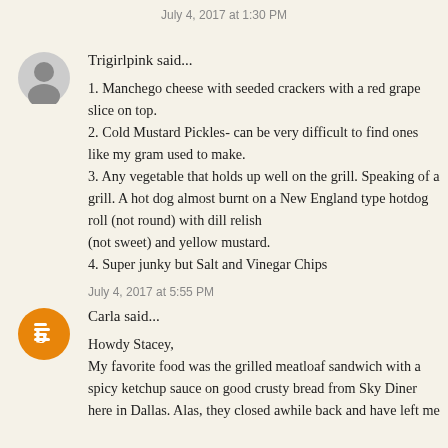July 4, 2017 at 1:30 PM
Trigirlpink said...
1. Manchego cheese with seeded crackers with a red grape slice on top.
2. Cold Mustard Pickles- can be very difficult to find ones like my gram used to make.
3. Any vegetable that holds up well on the grill. Speaking of a grill. A hot dog almost burnt on a New England type hotdog roll (not round) with dill relish
(not sweet) and yellow mustard.
4. Super junky but Salt and Vinegar Chips
July 4, 2017 at 5:55 PM
Carla said...
Howdy Stacey,
My favorite food was the grilled meatloaf sandwich with a spicy ketchup sauce on good crusty bread from Sky Diner here in Dallas. Alas, they closed awhile back and have left me